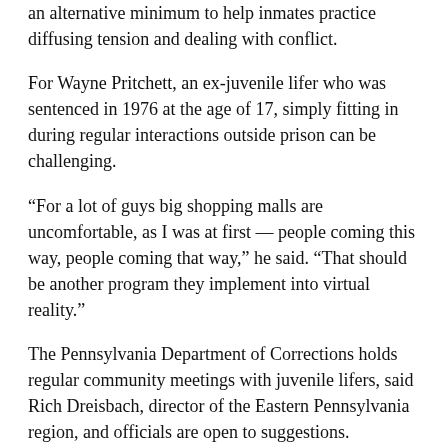an alternative minimum to help inmates practice diffusing tension and dealing with conflict.
For Wayne Pritchett, an ex-juvenile lifer who was sentenced in 1976 at the age of 17, simply fitting in during regular interactions outside prison can be challenging.
“For a lot of guys big shopping malls are uncomfortable, as I was at first — people coming this way, people coming that way,” he said. “That should be another program they implement into virtual reality.”
The Pennsylvania Department of Corrections holds regular community meetings with juvenile lifers, said Rich Dreisbach, director of the Eastern Pennsylvania region, and officials are open to suggestions.
“(Inmates) can experience something tough and